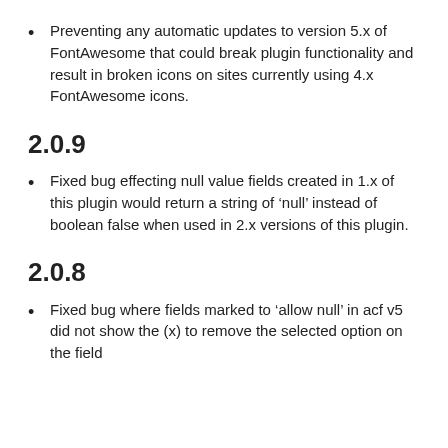Preventing any automatic updates to version 5.x of FontAwesome that could break plugin functionality and result in broken icons on sites currently using 4.x FontAwesome icons.
2.0.9
Fixed bug effecting null value fields created in 1.x of this plugin would return a string of ‘null’ instead of boolean false when used in 2.x versions of this plugin.
2.0.8
Fixed bug where fields marked to ‘allow null’ in acf v5 did not show the (x) to remove the selected option on the field